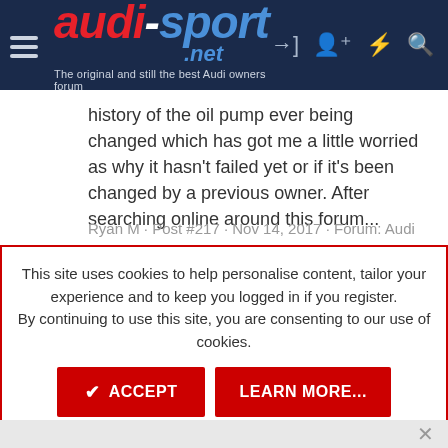[Figure (logo): audi-sport.net logo with navigation icons on dark blue header background]
history of the oil pump ever being changed which has got me a little worried as why it hasn't failed yet or if it's been changed by a previous owner. After searching online around this forum...
Ryan M · Post #217 · Nov 14, 2017 · Forum: Audi
This site uses cookies to help personalise content, tailor your experience and to keep you logged in if you register.
By continuing to use this site, you are consenting to our use of cookies.
✔ ACCEPT   LEARN MORE...